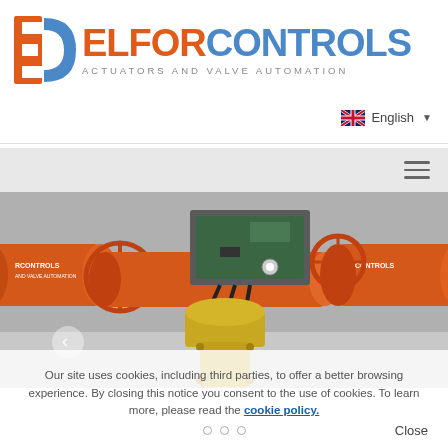[Figure (logo): Elfor Controls logo with orange EC icon, orange ELFOR and blue CONTROLS text, and tagline ACTUATORS AND VALVE AUTOMATION]
English ▼
[Figure (photo): Industrial valve actuator assembly with orange cylinders mounted on yellow pipeline valve, with control box and handwheel]
Our site uses cookies, including third parties, to offer a better browsing experience. By closing this notice you consent to the use of cookies. To learn more, please read the cookie policy.
Close